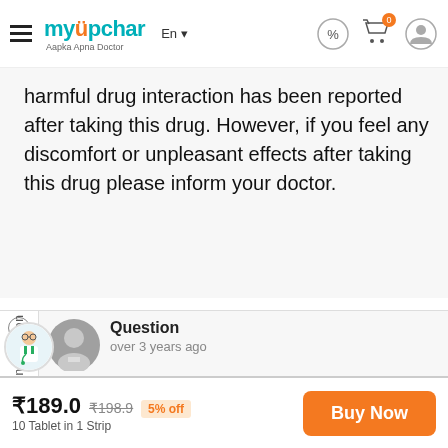myUpchar — Aapka Apna Doctor
harmful drug interaction has been reported after taking this drug. However, if you feel any discomfort or unpleasant effects after taking this drug please inform your doctor.
Question
over 3 years ago
How does Allegra work?
Dr. B. K. Agrawal
₹189.0  ₹198.9  5% off
10 Tablet in 1 Strip